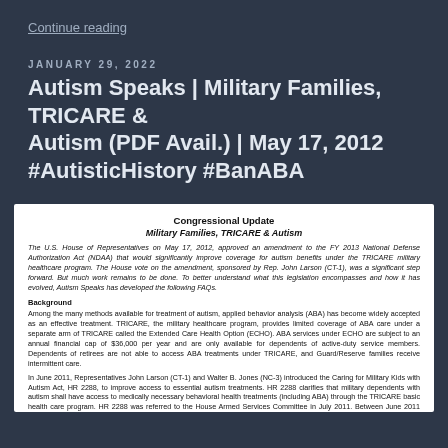Continue reading
JANUARY 29, 2022
Autism Speaks | Military Families, TRICARE & Autism (PDF Avail.) | May 17, 2012 #AutisticHistory #BanABA
Congressional Update
Military Families, TRICARE & Autism
The U.S. House of Representatives on May 17, 2012, approved an amendment to the FY 2013 National Defense Authorization Act (NDAA) that would significantly improve coverage for autism benefits under the TRICARE military healthcare program. The House vote on the amendment, sponsored by Rep. John Larson (CT-1), was a significant step forward. But much work remains to be done. To better understand what this legislation encompasses and how it has evolved, Autism Speaks has developed the following FAQs.
Background
Among the many methods available for treatment of autism, applied behavior analysis (ABA) has become widely accepted as an effective treatment. TRICARE, the military healthcare program, provides limited coverage of ABA care under a separate arm of TRICARE called the Extended Care Health Option (ECHO). ABA services under ECHO are subject to an annual financial cap of $36,000 per year and are only available for dependents of active-duty service members. Dependents of retirees are not able to access ABA treatments under TRICARE, and Guard/Reserve families receive intermittent care.
In June 2011, Representatives John Larson (CT-1) and Walter B. Jones (NC-3) introduced the Caring for Military Kids with Autism Act, HR 2288, to improve access to essential autism treatments. HR 2288 clarifies that military dependents with autism shall have access to medically necessary behavioral health treatments (including ABA) through the TRICARE basic health care program. HR 2288 was referred to the House Armed Services Committee in July 2011. Between June 2011 and May 2012, HR 2288 gained strong bi-partisan support with over 70 co-sponsors signed on to the bill.